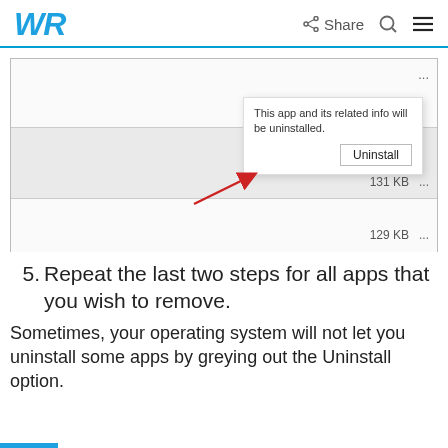WR  Share  [search icon]  [menu icon]
[Figure (screenshot): Screenshot of an app list with an uninstall popup dialog. The popup reads 'This app and its related info will be uninstalled.' with an Uninstall button. A red arrow points to the Uninstall button. App rows show sizes 131 KB and 129 KB with ellipsis menus.]
5. Repeat the last two steps for all apps that you wish to remove.
Sometimes, your operating system will not let you uninstall some apps by greying out the Uninstall option.